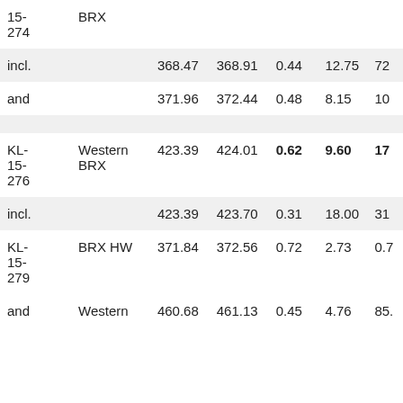| 15-274 | BRX |  |  |  |  |  |
| incl. |  | 368.47 | 368.91 | 0.44 | 12.75 | 72 |
| and |  | 371.96 | 372.44 | 0.48 | 8.15 | 10 |
|  |  |  |  |  |  |  |
| KL-15-276 | Western BRX | 423.39 | 424.01 | 0.62 | 9.60 | 17 |
| incl. |  | 423.39 | 423.70 | 0.31 | 18.00 | 31 |
| KL-15-279 | BRX HW | 371.84 | 372.56 | 0.72 | 2.73 | 0.7 |
| and | Western | 460.68 | 461.13 | 0.45 | 4.76 | 85. |